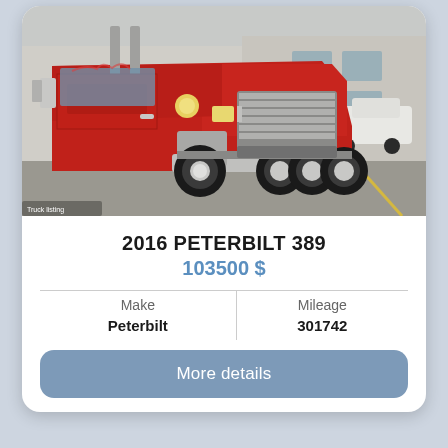[Figure (photo): A red 2016 Peterbilt 389 semi-truck photographed from the front-left angle in a parking lot, with a white pickup truck and industrial building in the background.]
2016 PETERBILT 389
103500 $
| Make | Mileage |
| --- | --- |
| Peterbilt | 301742 |
More details